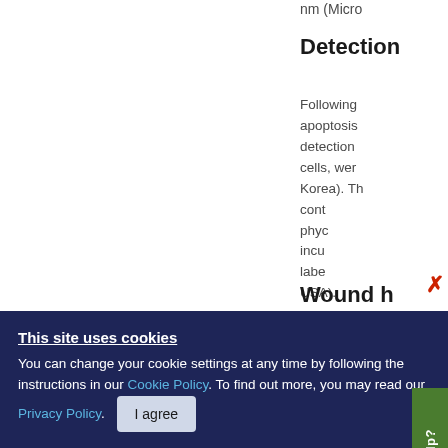nm (Micro
Detection
Following apoptosis detection cells, were Korea). The cont phyc incu labe USA).
Wound h
This site uses cookies
You can change your cookie settings at any time by following the instructions in our Cookie Policy. To find out more, you may read our Privacy Policy.
I agree